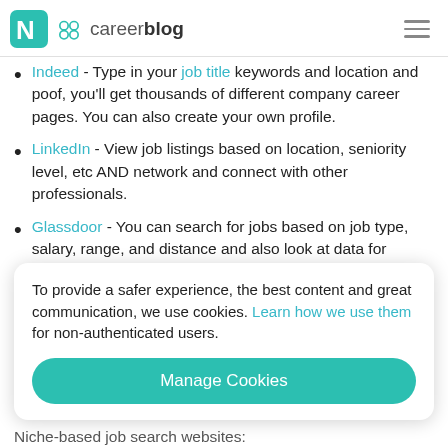careerblog
Indeed - Type in your job title keywords and location and poof, you'll get thousands of different company career pages. You can also create your own profile.
LinkedIn - View job listings based on location, seniority level, etc AND network and connect with other professionals.
Glassdoor - You can search for jobs based on job type, salary, range, and distance and also look at data for average salaries in a field or company.
Job.com - After uploading your resume, the website
To provide a safer experience, the best content and great communication, we use cookies. Learn how we use them for non-authenticated users.
Manage Cookies
Niche-based job search websites: